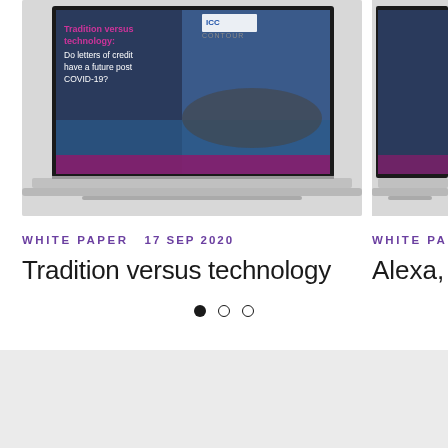[Figure (screenshot): Laptop displaying a white paper cover titled 'Tradition versus technology: Do letters of credit have a future post COVID-19?' with ICC and CONTOUR logos, showing a cargo ship image with purple/magenta design elements.]
WHITE PAPER   17 SEP 2020
Tradition versus technology
[Figure (screenshot): Partially visible laptop on the right edge of the page, cropped.]
WHITE PA
Alexa, ge